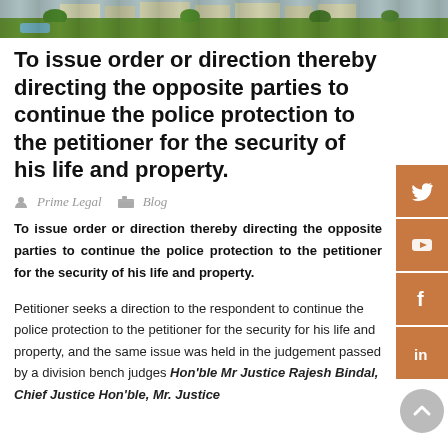[Figure (photo): Header banner image showing a building with green lawn and trees]
To issue order or direction thereby directing the opposite parties to continue the police protection to the petitioner for the security of his life and property.
Prime Legal  Blog
To issue order or direction thereby directing the opposite parties to continue the police protection to the petitioner for the security of his life and property.
Petitioner seeks a direction to the respondent to continue the police protection to the petitioner for the security for his life and property, and the same issue was held in the judgement passed by a division bench judges Hon'ble Mr Justice Rajesh Bindal, Chief Justice Hon'ble, Mr. Justice